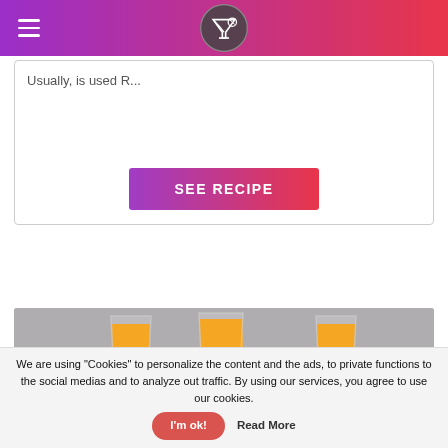Usually, is used R...
SEE RECIPE
[Figure (photo): Three layered shot glasses with green, white/cream, and orange layers on a grey background]
We are using "Cookies" to personalize the content and the ads, to private functions to the social medias and to analyze out traffic. By using our services, you agree to use our cookies.
I'm ok!
Read More